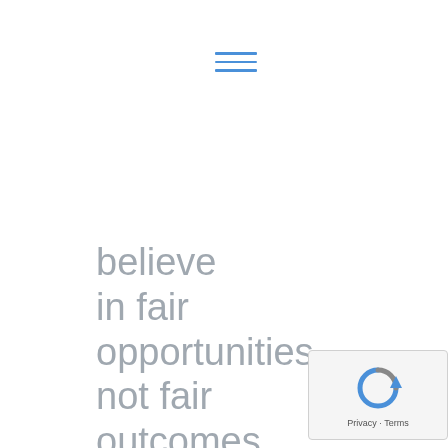[Figure (other): Hamburger menu icon with three horizontal blue lines]
believe in fair opportunities, not fair outcomes. Because let's be honest, not everyone has